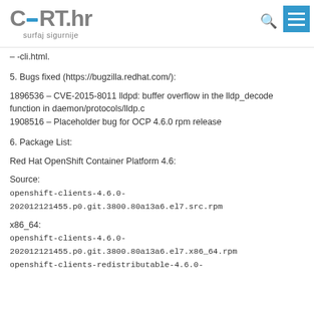CERT.hr surfaj sigurnije
– -cli.html.
5. Bugs fixed (https://bugzilla.redhat.com/):
1896536 – CVE-2015-8011 lldpd: buffer overflow in the lldp_decode function in daemon/protocols/lldp.c
1908516 – Placeholder bug for OCP 4.6.0 rpm release
6. Package List:
Red Hat OpenShift Container Platform 4.6:
Source:
openshift-clients-4.6.0-202012121455.p0.git.3800.80a13a6.el7.src.rpm
x86_64:
openshift-clients-4.6.0-202012121455.p0.git.3800.80a13a6.el7.x86_64.rpm
openshift-clients-redistributable-4.6.0-